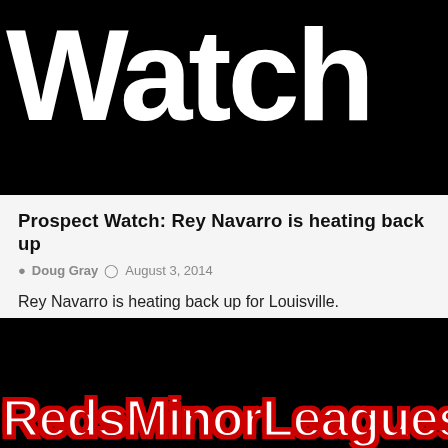[Figure (screenshot): Black background with large white bold text reading 'Watch' cropped at edges]
Prospect Watch: Rey Navarro is heating back up
Doug Gray  August 3, 2014
Rey Navarro is heating back up for Louisville.
[Figure (logo): Black background with RedsMinorLeagues.co text in white with red outline/stroke, partially cropped]